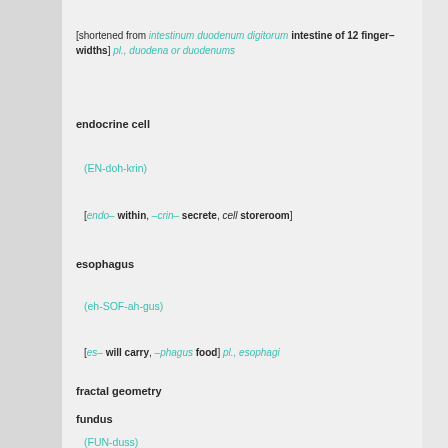[shortened from intestinum duodenum digitorum intestine of 12 finger-widths] pl., duodena or duodenums
endocrine cell
(EN-doh-krin)
[endo– within, –crin– secrete, cell storeroom]
esophagus
(eh-SOF-ah-gus)
[es– will carry, –phagus food] pl., esophagi
fractal geometry
fundus
(FUN-duss)